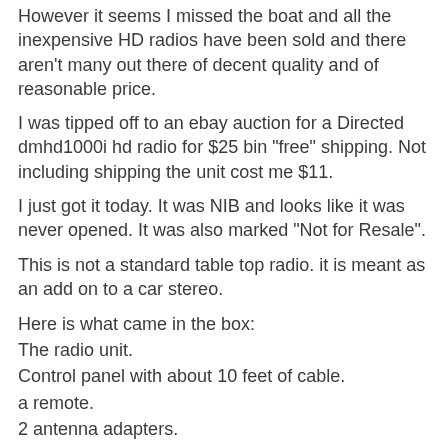However it seems I missed the boat and all the inexpensive HD radios have been sold and there aren't many out there of decent quality and of reasonable price.
I was tipped off to an ebay auction for a Directed dmhd1000i hd radio for $25 bin "free" shipping. Not including shipping the unit cost me $11.
I just got it today. It was NIB and looks like it was never opened. It was also marked "Not for Resale".
This is not a standard table top radio. it is meant as an add on to a car stereo.
Here is what came in the box:
The radio unit.
Control panel with about 10 feet of cable.
a remote.
2 antenna adapters.
mounting brackets.
and a billion miles of wire to hook it in to power.
[Figure (photo): Partial image of the radio contents/box at the bottom of the page]